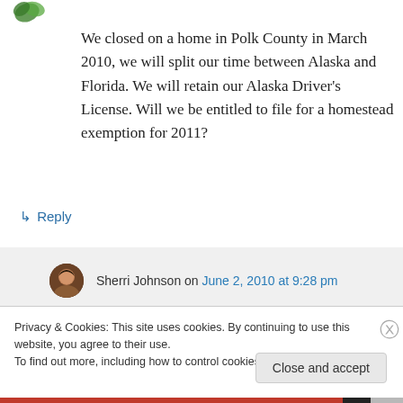[Figure (illustration): Small green leaf/plant logo in top left corner]
We closed on a home in Polk County in March 2010, we will split our time between Alaska and Florida. We will retain our Alaska Driver's License. Will we be entitled to file for a homestead exemption for 2011?
↳ Reply
Sherri Johnson on June 2, 2010 at 9:28 pm
Privacy & Cookies: This site uses cookies. By continuing to use this website, you agree to their use.
To find out more, including how to control cookies, see here: Cookie Policy